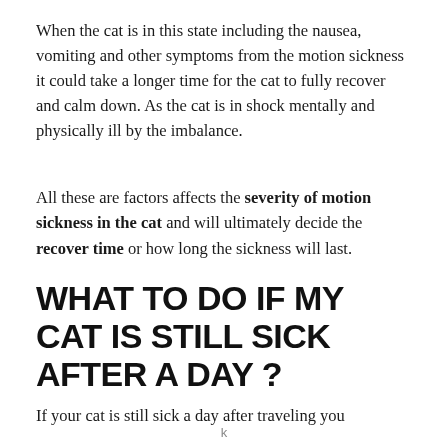When the cat is in this state including the nausea, vomiting and other symptoms from the motion sickness it could take a longer time for the cat to fully recover and calm down. As the cat is in shock mentally and physically ill by the imbalance.
All these are factors affects the severity of motion sickness in the cat and will ultimately decide the recover time or how long the sickness will last.
WHAT TO DO IF MY CAT IS STILL SICK AFTER A DAY ?
If your cat is still sick a day after traveling you
k